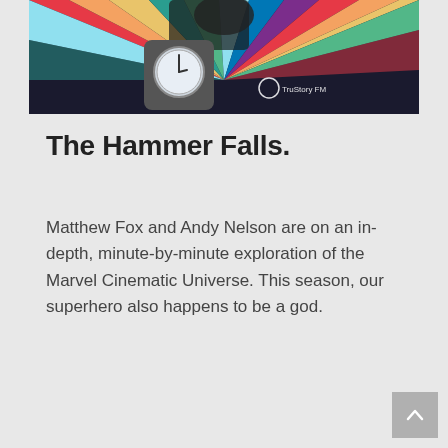[Figure (illustration): A colorful illustration showing a hand holding a large clock/stopwatch against a background of radiating multicolored rays (rainbow burst). A TruStory FM watermark is visible. Part of a figure is visible at the top. The image is partially cropped showing only the lower portion.]
The Hammer Falls.
Matthew Fox and Andy Nelson are on an in-depth, minute-by-minute exploration of the Marvel Cinematic Universe. This season, our superhero also happens to be a god.